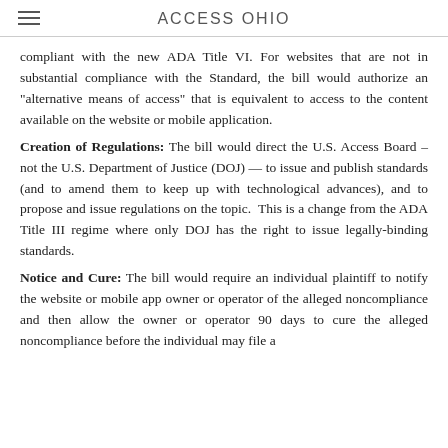ACCESS OHIO
compliant with the new ADA Title VI. For websites that are not in substantial compliance with the Standard, the bill would authorize an "alternative means of access" that is equivalent to access to the content available on the website or mobile application.
Creation of Regulations: The bill would direct the U.S. Access Board – not the U.S. Department of Justice (DOJ) — to issue and publish standards (and to amend them to keep up with technological advances), and to propose and issue regulations on the topic. This is a change from the ADA Title III regime where only DOJ has the right to issue legally-binding standards.
Notice and Cure: The bill would require an individual plaintiff to notify the website or mobile app owner or operator of the alleged noncompliance and then allow the owner or operator 90 days to cure the alleged noncompliance before the individual may file a